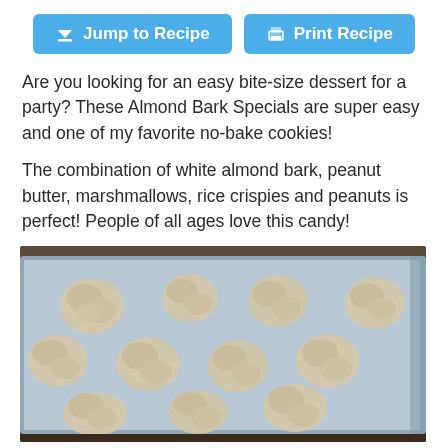[Figure (other): Two blue buttons: 'Jump to Recipe' with a download arrow icon, and 'Print Recipe' with a printer icon]
Are you looking for an easy bite-size dessert for a party?  These Almond Bark Specials are super easy and one of my favorite no-bake cookies!
The combination of white almond bark, peanut butter, marshmallows, rice crispies and peanuts is perfect!  People of all ages love this candy!
[Figure (photo): Photo of almond bark special cookies (white lumpy no-bake cookies) arranged on a grey baking tray lined with parchment paper]